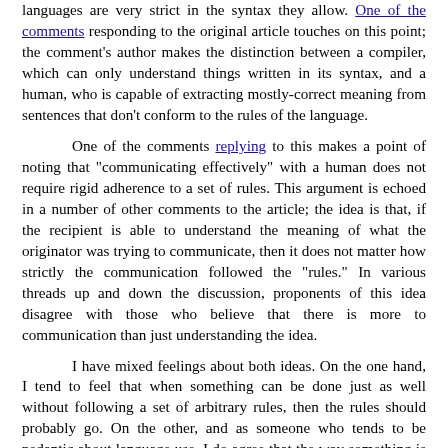languages are very strict in the syntax they allow. One of the comments responding to the original article touches on this point; the comment's author makes the distinction between a compiler, which can only understand things written in its syntax, and a human, who is capable of extracting mostly-correct meaning from sentences that don't conform to the rules of the language.
One of the comments replying to this makes a point of noting that "communicating effectively" with a human does not require rigid adherence to a set of rules. This argument is echoed in a number of other comments to the article; the idea is that, if the recipient is able to understand the meaning of what the originator was trying to communicate, then it does not matter how strictly the communication followed the "rules." In various threads up and down the discussion, proponents of this idea disagree with those who believe that there is more to communication than just understanding the idea.
I have mixed feelings about both ideas. On the one hand, I tend to feel that when something can be done just as well without following a set of arbitrary rules, then the rules should probably go. On the other, and as someone who tends to be pedantic about language use, I do agree that the way something is communicated conveys information above and beyond that which was intended. Someone who tends to